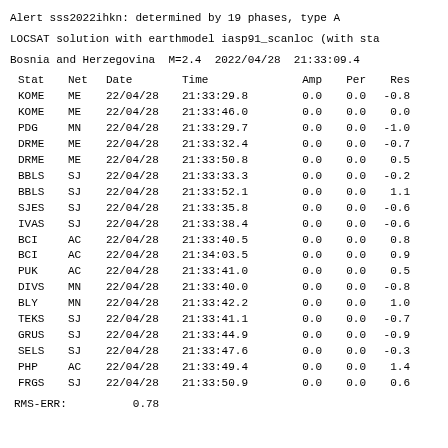Alert sss2022ihkn: determined by 19 phases, type A
LOCSAT solution with earthmodel iasp91_scanloc (with sta
Bosnia and Herzegovina  M=2.4  2022/04/28  21:33:09.4
| Stat | Net | Date | Time | Amp | Per | Res |
| --- | --- | --- | --- | --- | --- | --- |
| KOME | ME | 22/04/28 | 21:33:29.8 | 0.0 | 0.0 | -0.8 |
| KOME | ME | 22/04/28 | 21:33:46.0 | 0.0 | 0.0 | 0.0 |
| PDG | MN | 22/04/28 | 21:33:29.7 | 0.0 | 0.0 | -1.0 |
| DRME | ME | 22/04/28 | 21:33:32.4 | 0.0 | 0.0 | -0.7 |
| DRME | ME | 22/04/28 | 21:33:50.8 | 0.0 | 0.0 | 0.5 |
| BBLS | SJ | 22/04/28 | 21:33:33.3 | 0.0 | 0.0 | -0.2 |
| BBLS | SJ | 22/04/28 | 21:33:52.1 | 0.0 | 0.0 | 1.1 |
| SJES | SJ | 22/04/28 | 21:33:35.8 | 0.0 | 0.0 | -0.6 |
| IVAS | SJ | 22/04/28 | 21:33:38.4 | 0.0 | 0.0 | -0.6 |
| BCI | AC | 22/04/28 | 21:33:40.5 | 0.0 | 0.0 | 0.8 |
| BCI | AC | 22/04/28 | 21:34:03.5 | 0.0 | 0.0 | 0.9 |
| PUK | AC | 22/04/28 | 21:33:41.0 | 0.0 | 0.0 | 0.5 |
| DIVS | MN | 22/04/28 | 21:33:40.0 | 0.0 | 0.0 | -0.8 |
| BLY | MN | 22/04/28 | 21:33:42.2 | 0.0 | 0.0 | 1.0 |
| TEKS | SJ | 22/04/28 | 21:33:41.1 | 0.0 | 0.0 | -0.7 |
| GRUS | SJ | 22/04/28 | 21:33:44.9 | 0.0 | 0.0 | -0.9 |
| SELS | SJ | 22/04/28 | 21:33:47.6 | 0.0 | 0.0 | -0.3 |
| PHP | AC | 22/04/28 | 21:33:49.4 | 0.0 | 0.0 | 1.4 |
| FRGS | SJ | 22/04/28 | 21:33:50.9 | 0.0 | 0.0 | 0.6 |
RMS-ERR:          0.78